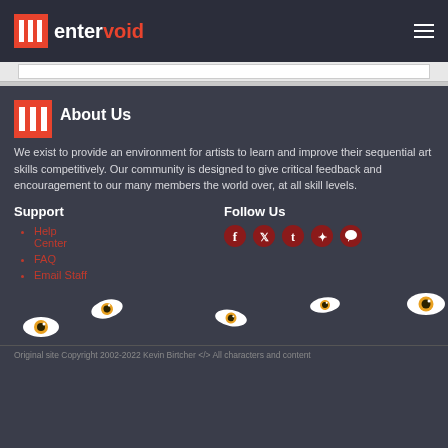entervoid
About Us
We exist to provide an environment for artists to learn and improve their sequential art skills competitively. Our community is designed to give critical feedback and encouragement to our many members the world over, at all skill levels.
Support
Follow Us
Help Center
FAQ
Email Staff
[Figure (illustration): Social media icons: Facebook, Twitter, Tumblr, FurAffinity, chat bubble]
[Figure (illustration): Decorative eye illustrations scattered at the bottom of the page]
Original site Copyright 2002-2022 Kevin Birtcher </> All characters and content